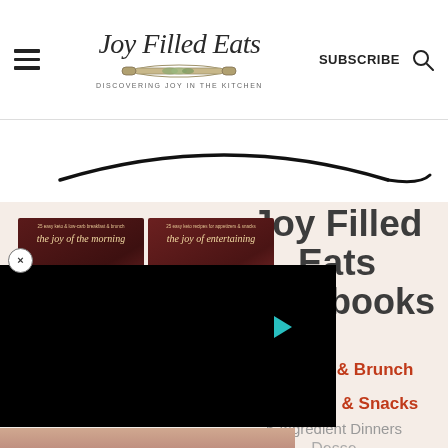Joy Filled Eats — DISCOVERING JOY IN THE KITCHEN — SUBSCRIBE
[Figure (screenshot): Joy Filled Eats website screenshot showing site header with hamburger menu, cursive logo with rolling pin graphic, tagline 'DISCOVERING JOY IN THE KITCHEN', SUBSCRIBE button, and search icon]
[Figure (photo): Partial black curved line visible at top of beige section, like the bottom rim of a skillet or bowl]
[Figure (photo): Two cookbook cover thumbnails side by side with dark red/maroon covers showing cursive titles 'the joy of the morning' and 'the joy of entertaining', overlaid by a large black video player rectangle with a teal play button, and a close (X) button circle in the upper left]
Joy Filled Eats Cookbooks
Breakfast & Brunch
Appetizers & Snacks
5-Ingredient Dinners
Desserts